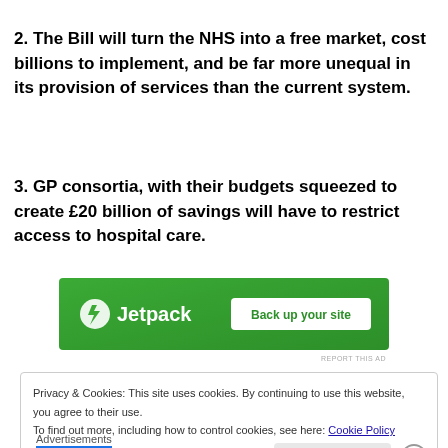2. The Bill will turn the NHS into a free market, cost billions to implement, and be far more unequal in its provision of services than the current system.
3. GP consortia, with their budgets squeezed to create £20 billion of savings will have to restrict access to hospital care.
[Figure (other): Jetpack advertisement banner with green background showing Jetpack logo and 'Back up your site' button]
Privacy & Cookies: This site uses cookies. By continuing to use this website, you agree to their use. To find out more, including how to control cookies, see here: Cookie Policy
Advertisements